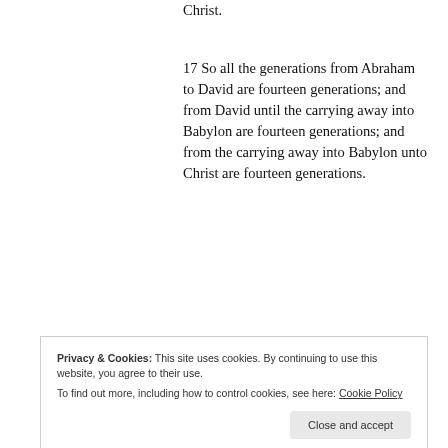Christ.
17 So all the generations from Abraham to David are fourteen generations; and from David until the carrying away into Babylon are fourteen generations; and from the carrying away into Babylon unto Christ are fourteen generations.
Why is this important? 14×3= 42 which is God's number. However, there we see 41. (I took the liberty
Privacy & Cookies: This site uses cookies. By continuing to use this website, you agree to their use.
To find out more, including how to control cookies, see here: Cookie Policy
mention during the exile to Egypt